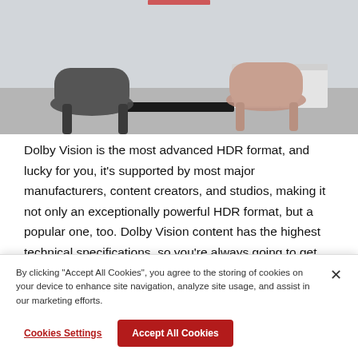[Figure (photo): Office room with two chairs (one dark gray, one beige/tan) at a desk, modern interior with cabinet and neutral wall]
Dolby Vision is the most advanced HDR format, and lucky for you, it's supported by most major manufacturers, content creators, and studios, making it not only an exceptionally powerful HDR format, but a popular one, too. Dolby Vision content has the highest technical specifications, so you're always going to get greater brightness, contrast, and the richest, fullest
By clicking "Accept All Cookies", you agree to the storing of cookies on your device to enhance site navigation, analyze site usage, and assist in our marketing efforts.
Cookies Settings
Accept All Cookies